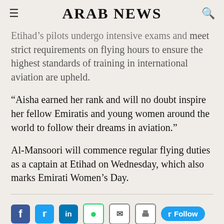ARAB NEWS
Etihad's pilots undergo intensive exams and meet strict requirements on flying hours to ensure the highest standards of training in international aviation are upheld.
“Aisha earned her rank and will no doubt inspire her fellow Emiratis and young women around the world to follow their dreams in aviation.”
Al-Mansoori will commence regular flying duties as a captain at Etihad on Wednesday, which also marks Emirati Women’s Day.
Social share icons: Facebook, Twitter, LinkedIn, WhatsApp, Email, Print, Twitter Follow button